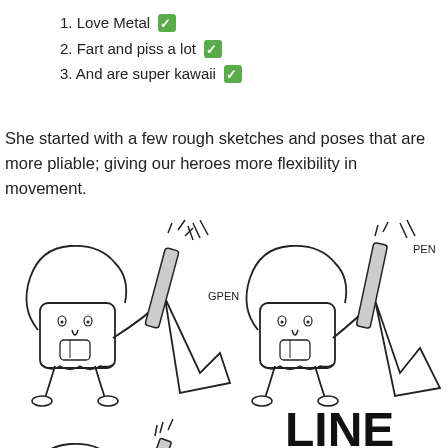1. Love Metal ✅
2. Fart and piss a lot ✅
3. And are super kawaii ✅
She started with a few rough sketches and poses that are more pliable; giving our heroes more flexibility in movement.
[Figure (illustration): Cartoon sketch illustration showing two kawaii characters holding electric guitars labeled GPEN and PEN in top row, and a third character with a guitar labeled PENCIL with the word LINE in bold below, all drawn in simple line art style.]